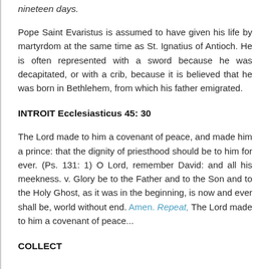nineteen days.
Pope Saint Evaristus is assumed to have given his life by martyrdom at the same time as St. Ignatius of Antioch. He is often represented with a sword because he was decapitated, or with a crib, because it is believed that he was born in Bethlehem, from which his father emigrated.
INTROIT Ecclesiasticus 45: 30
The Lord made to him a covenant of peace, and made him a prince: that the dignity of priesthood should be to him for ever. (Ps. 131: 1) O Lord, remember David: and all his meekness. v. Glory be to the Father and to the Son and to the Holy Ghost, as it was in the beginning, is now and ever shall be, world without end. Amen. Repeat, The Lord made to him a covenant of peace...
COLLECT